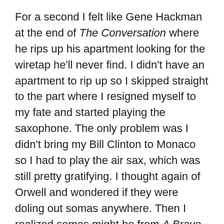For a second I felt like Gene Hackman at the end of The Conversation where he rips up his apartment looking for the wiretap he'll never find. I didn't have an apartment to rip up so I skipped straight to the part where I resigned myself to my fate and started playing the saxophone. The only problem was I didn't bring my Bill Clinton to Monaco so I had to play the air sax, which was still pretty gratifying. I thought again of Orwell and wondered if they were doling out somas anywhere. Then I realized somas might be from A Brave New World.
Overwhelmed with literary insecurities I decided to hunt down a pistachio macaron. After munching on that crunchy green, hockey puck of sugar I asked a few people at the patisserie if they knew where I could run into Princess Grace. I got some weird looks. It didn't take long for me to